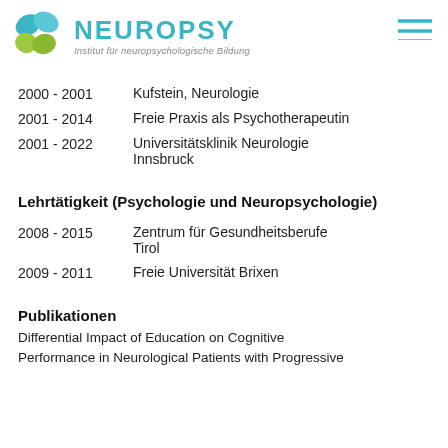NEUROPSY – Institut für neuropsychologische Bildung
2000 - 2001   Kufstein, Neurologie
2001 - 2014   Freie Praxis als Psychotherapeutin
2001 - 2022   Universitätsklinik Neurologie Innsbruck
Lehrtätigkeit (Psychologie und Neuropsychologie)
2008 - 2015   Zentrum für Gesundheitsberufe Tirol
2009 - 2011   Freie Universität Brixen
Publikationen
Differential Impact of Education on Cognitive Performance in Neurological Patients with Progressive